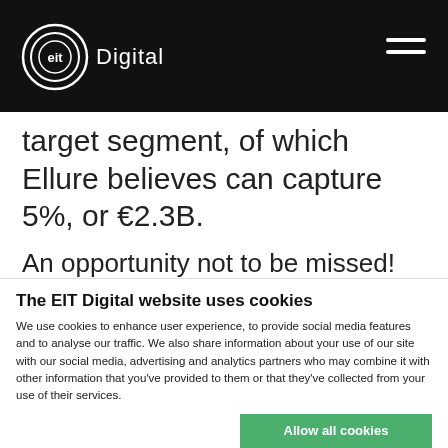EIT Digital
target segment, of which Ellure believes can capture 5%, or €2.3B.
An opportunity not to be missed!
The EIT Digital website uses cookies
We use cookies to enhance user experience, to provide social media features and to analyse our traffic. We also share information about your use of our site with our social media, advertising and analytics partners who may combine it with other information that you've provided to them or that they've collected from your use of their services.
Allow all cookies
Allow selection
Use necessary cookies only
Necessary  Preferences  Statistics  Marketing  Show details